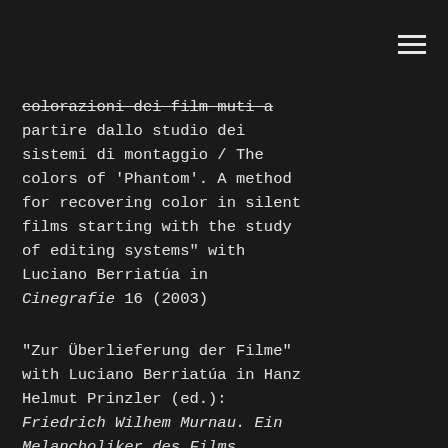colorazioni dei film muti a partire dallo studio dei sistemi di montaggio / The colors of ‘Phantom’. A method for recovering color in silent films starting with the study of editing systems” with Luciano Berriatúa in Cinegrafie 16 (2003)
“Zur Überlieferung der Filme” with Luciano Berriatúa in Hanz Helmut Prinzler (ed.): Friedrich Wilhem Murnau. Ein Melancholiker des Films, Berlin: Bertz (2003)